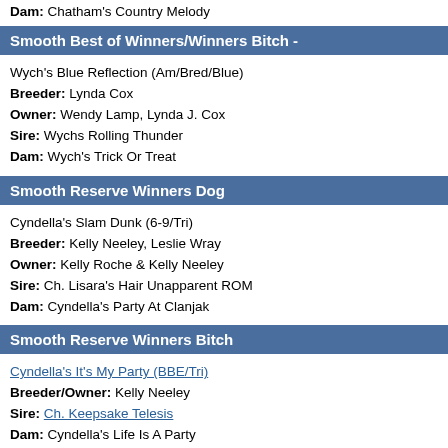Dam: Chatham's Country Melody
Smooth Best of Winners/Winners Bitch -
Wych's Blue Reflection (Am/Bred/Blue)
Breeder: Lynda Cox
Owner: Wendy Lamp, Lynda J. Cox
Sire: Wychs Rolling Thunder
Dam: Wych's Trick Or Treat
Smooth Reserve Winners Dog
Cyndella's Slam Dunk (6-9/Tri)
Breeder: Kelly Neeley, Leslie Wray
Owner: Kelly Roche & Kelly Neeley
Sire: Ch. Lisara's Hair Unapparent ROM
Dam: Cyndella's Party At Clanjak
Smooth Reserve Winners Bitch
Cyndella's It's My Party (BBE/Tri)
Breeder/Owner: Kelly Neeley
Sire: Ch. Keepsake Telesis
Dam: Cyndella's Life Is A Party
Best In Sweepstakes
Cyndella's Blue Moon Rising (6-9/Rough/Blu
Breeder: Kelly Neeley, Leslie Wray
Owner: Kelly Neeley
Sire: Ch. Lisara's Hair Unapparent ROM
Dam: Cyndella's Party At Clanjak